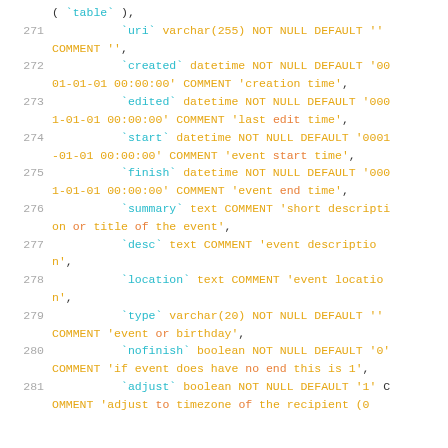271  `uri` varchar(255) NOT NULL DEFAULT '' COMMENT '',
272  `created` datetime NOT NULL DEFAULT '0001-01-01 00:00:00' COMMENT 'creation time',
273  `edited` datetime NOT NULL DEFAULT '0001-01-01 00:00:00' COMMENT 'last edit time',
274  `start` datetime NOT NULL DEFAULT '0001-01-01 00:00:00' COMMENT 'event start time',
275  `finish` datetime NOT NULL DEFAULT '0001-01-01 00:00:00' COMMENT 'event end time',
276  `summary` text COMMENT 'short description or title of the event',
277  `desc` text COMMENT 'event description',
278  `location` text COMMENT 'event location',
279  `type` varchar(20) NOT NULL DEFAULT '' COMMENT 'event or birthday',
280  `nofinish` boolean NOT NULL DEFAULT '0' COMMENT 'if event does have no end this is 1',
281  `adjust` boolean NOT NULL DEFAULT '1' COMMENT 'adjust to timezone of the recipient (0